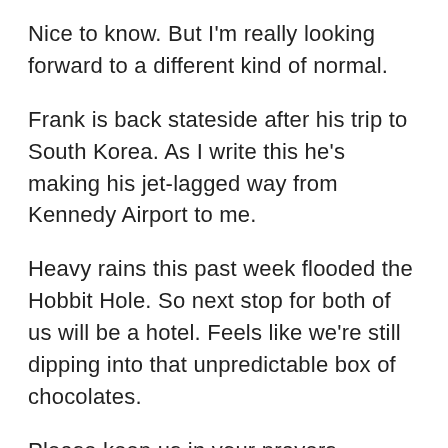Nice to know. But I'm really looking forward to a different kind of normal.
Frank is back stateside after his trip to South Korea. As I write this he's making his jet-lagged way from Kennedy Airport to me.
Heavy rains this past week flooded the Hobbit Hole. So next stop for both of us will be a hotel. Feels like we're still dipping into that unpredictable box of chocolates.
Please keep us in your prayers.